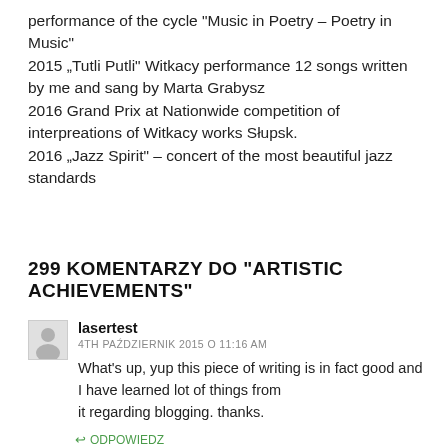performance of the cycle “Music in Poetry – Poetry in Music”
2015 „Tutli Putli” Witkacy performance 12 songs written by me and sang by Marta Grabysz
2016 Grand Prix at Nationwide competition of interpreations of Witkacy works Słupsk.
2016 „Jazz Spirit” – concert of the most beautiful jazz standards
299 KOMENTARZY DO “ARTISTIC ACHIEVEMENTS”
lasertest
4TH PAŹDZIERNIK 2015 O 11:16 AM
What’s up, yup this piece of writing is in fact good and I have learned lot of things from it regarding blogging. thanks.
ODPOWIEDZ